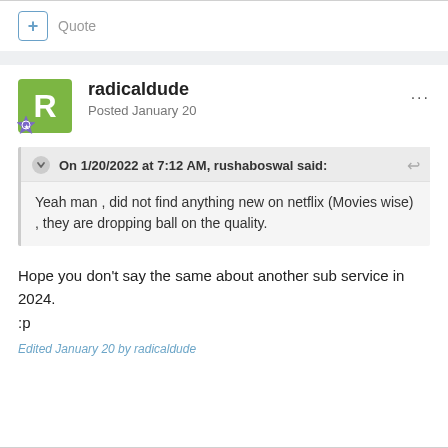+ Quote
radicaldude
Posted January 20
On 1/20/2022 at 7:12 AM, rushaboswal said:
Yeah man , did not find anything new on netflix (Movies wise) , they are dropping ball on the quality.
Hope you don't say the same about another sub service in 2024. :p
Edited January 20 by radicaldude